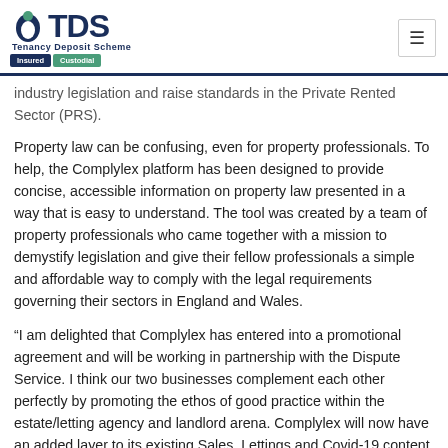TDS – Tenancy Deposit Scheme – Insured / Custodial
industry legislation and raise standards in the Private Rented Sector (PRS).
Property law can be confusing, even for property professionals. To help, the Complylex platform has been designed to provide concise, accessible information on property law presented in a way that is easy to understand. The tool was created by a team of property professionals who came together with a mission to demystify legislation and give their fellow professionals a simple and affordable way to comply with the legal requirements governing their sectors in England and Wales.
“I am delighted that Complylex has entered into a promotional agreement and will be working in partnership with the Dispute Service. I think our two businesses complement each other perfectly by promoting the ethos of good practice within the estate/letting agency and landlord arena. Complylex will now have an added layer to its existing Sales, Lettings and Covid-19 content, with a Landlord Only bundle subscription which clearly sets out the obligations for landlords” said Executive Chairman of Complylex